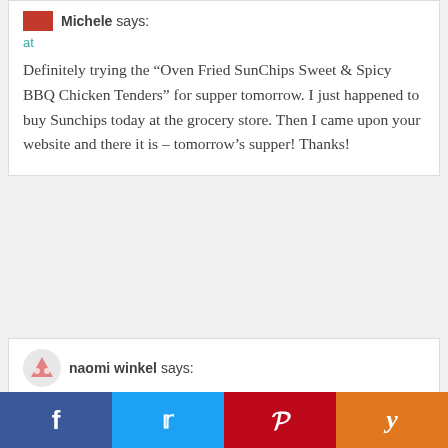Michele says:
at
Definitely trying the “Oven Fried SunChips Sweet & Spicy BBQ Chicken Tenders” for supper tomorrow. I just happened to buy Sunchips today at the grocery store. Then I came upon your website and there it is – tomorrow’s supper! Thanks!
naomi winkel says:
at